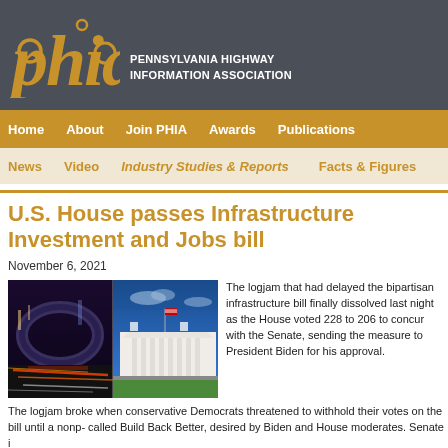PENNSYLVANIA HIGHWAY INFORMATION ASSOCIATION
Home | About | Join PHIA | Awards | Publications
News | Video | Industry Studies & Reports | Facts & Figures
U.S. House passes Infrastructure Investment and Jobs bill
November 6, 2021
[Figure (photo): Composite photo: left side shows a highway at night with light trails, right side shows the White House exterior]
The logjam that had delayed the bipartisan infrastructure bill finally dissolved last night as the House voted 228 to 206 to concur with the Senate, sending the measure to President Biden for his approval.
The logjam broke when conservative Democrats threatened to withhold their votes on the bill until a nonp- called Build Back Better, desired by Biden and House moderates. Senate i